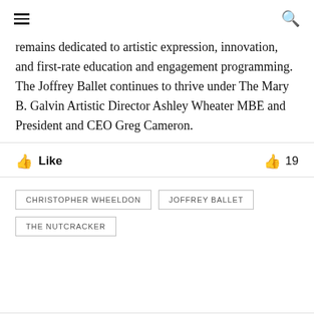☰  🔍
remains dedicated to artistic expression, innovation, and first-rate education and engagement programming. The Joffrey Ballet continues to thrive under The Mary B. Galvin Artistic Director Ashley Wheater MBE and President and CEO Greg Cameron.
👍 Like   👍 19
CHRISTOPHER WHEELDON
JOFFREY BALLET
THE NUTCRACKER